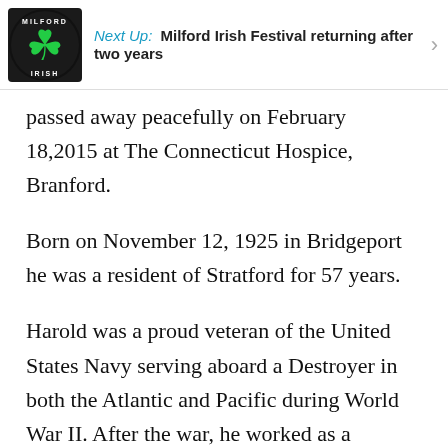Next Up: Milford Irish Festival returning after two years
passed away peacefully on February 18,2015 at The Connecticut Hospice, Branford.
Born on November 12, 1925 in Bridgeport he was a resident of Stratford for 57 years.
Harold was a proud veteran of the United States Navy serving aboard a Destroyer in both the Atlantic and Pacific during World War II. After the war, he worked as a photographer for General Electric and then a milkman for Dewhirst Dairy.